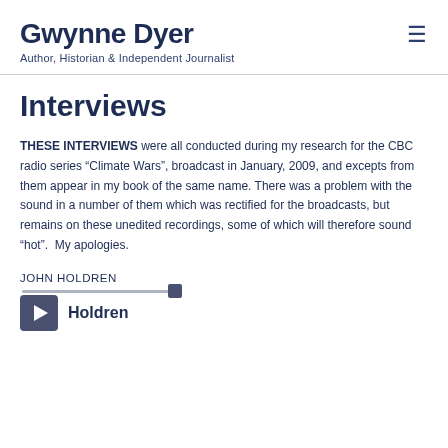Gwynne Dyer
Author, Historian & Independent Journalist
Interviews
THESE INTERVIEWS were all conducted during my research for the CBC radio series "Climate Wars", broadcast in January, 2009, and excepts from them appear in my book of the same name. There was a problem with the sound in a number of them which was rectified for the broadcasts, but remains on these unedited recordings, some of which will therefore sound "hot". My apologies.
JOHN HOLDREN
[Figure (other): Audio player with play button and scrubber track labeled 'Holdren']